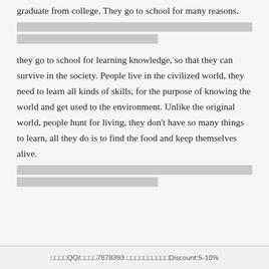graduate from college. They go to school for many reasons.
[redacted lines]
they go to school for learning knowledge, so that they can survive in the society. People live in the civilized world, they need to learn all kinds of skills, for the purpose of knowing the world and get used to the environment. Unlike the original world, people hunt for living, they don't have so many things to learn, all they do is to find the food and keep themselves alive.
[redacted lines]
□□□□QQ/□□□□7878393 □□□□□□□□□□Discount:5-10%